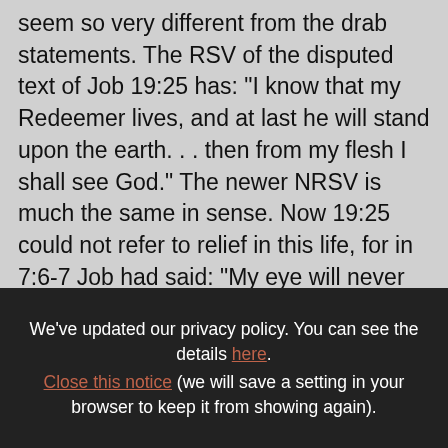seem so very different from the drab statements. The RSV of the disputed text of Job 19:25 has: "I know that my Redeemer lives, and at last he will stand upon the earth. . . then from my flesh I shall see God." The newer NRSV is much the same in sense. Now 19:25 could not refer to relief in this life, for in 7:6-7 Job had said: "My eye will never again see good." Isaiah 25:8 foretells that, "He will swallow up death for ever, the Lord will wipe away tears from all faces." And again Is 16:29:
We've updated our privacy policy. You can see the details here.
Close this notice (we will save a setting in your browser to keep it from showing again).